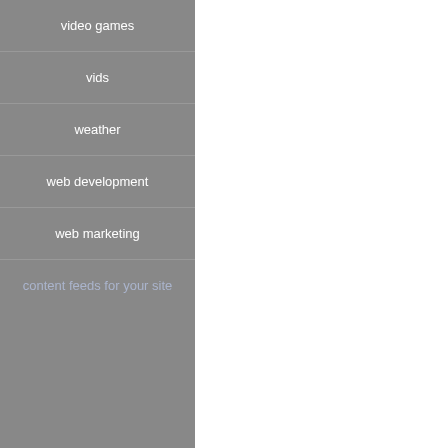video games
vids
weather
web development
web marketing
content feeds for your site